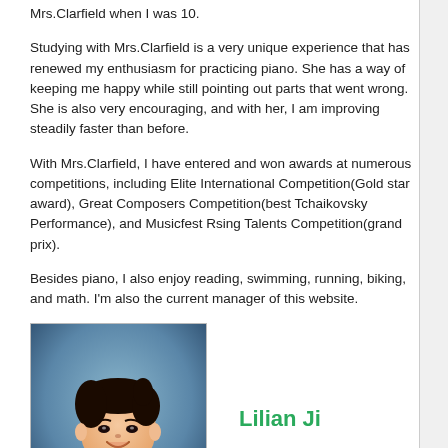Mrs.Clarfield when I was 10.
Studying with Mrs.Clarfield is a very unique experience that has renewed my enthusiasm for practicing piano. She has a way of keeping me happy while still pointing out parts that went wrong. She is also very encouraging, and with her, I am improving steadily faster than before.
With Mrs.Clarfield, I have entered and won awards at numerous competitions, including Elite International Competition(Gold star award), Great Composers Competition(best Tchaikovsky Performance), and Musicfest Rsing Talents Competition(grand prix).
Besides piano, I also enjoy reading, swimming, running, biking, and math. I'm also the current manager of this website.
[Figure (photo): Portrait photo of Lilian Ji, a young girl smiling, wearing a colorful dress, against a blue-grey background]
Lilian Ji
Lilian Ji is 8 years old. She started learning piano when she was 4 years old with Ms. Chloris Li, and came to study with Mrs.Clarfield after two